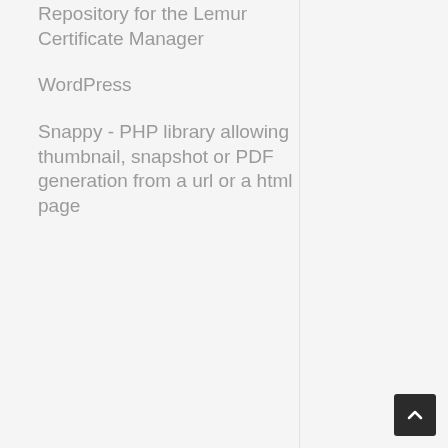Repository for the Lemur Certificate Manager
WordPress
Snappy - PHP library allowing thumbnail, snapshot or PDF generation from a url or a html page